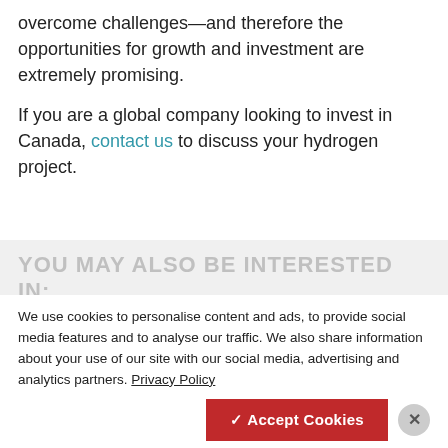overcome challenges—and therefore the opportunities for growth and investment are extremely promising.
If you are a global company looking to invest in Canada, contact us to discuss your hydrogen project.
YOU MAY ALSO BE INTERESTED IN:
We use cookies to personalise content and ads, to provide social media features and to analyse our traffic. We also share information about your use of our site with our social media, advertising and analytics partners. Privacy Policy